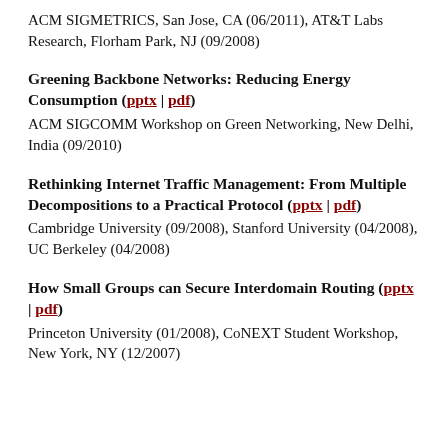ACM SIGMETRICS, San Jose, CA (06/2011), AT&T Labs Research, Florham Park, NJ (09/2008)
Greening Backbone Networks: Reducing Energy Consumption (pptx | pdf)
ACM SIGCOMM Workshop on Green Networking, New Delhi, India (09/2010)
Rethinking Internet Traffic Management: From Multiple Decompositions to a Practical Protocol (pptx | pdf)
Cambridge University (09/2008), Stanford University (04/2008), UC Berkeley (04/2008)
How Small Groups can Secure Interdomain Routing (pptx | pdf)
Princeton University (01/2008), CoNEXT Student Workshop, New York, NY (12/2007)